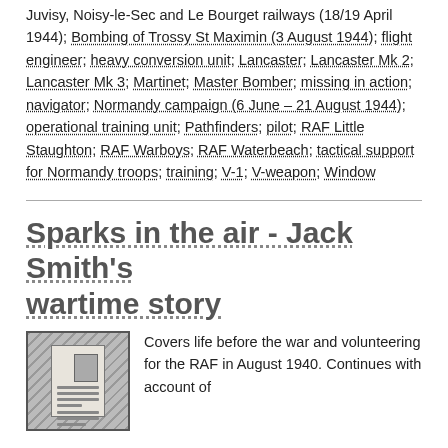Juvisy, Noisy-le-Sec and Le Bourget railways (18/19 April 1944); Bombing of Trossy St Maximin (3 August 1944); flight engineer; heavy conversion unit; Lancaster; Lancaster Mk 2; Lancaster Mk 3; Martinet; Master Bomber; missing in action; navigator; Normandy campaign (6 June – 21 August 1944); operational training unit; Pathfinders; pilot; RAF Little Staughton; RAF Warboys; RAF Waterbeach; tactical support for Normandy troops; training; V-1; V-weapon; Window
Sparks in the air - Jack Smith's wartime story
[Figure (photo): Thumbnail image of a wartime document or identification card with a small portrait photo]
Covers life before the war and volunteering for the RAF in August 1940. Continues with account of